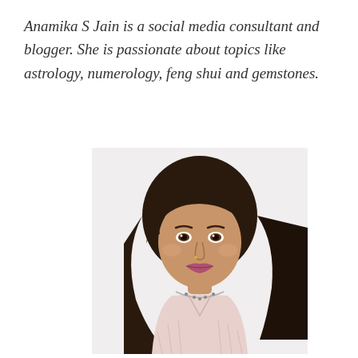Anamika S Jain is a social media consultant and blogger. She is passionate about topics like astrology, numerology, feng shui and gemstones.
[Figure (photo): Portrait photo of Anamika S Jain, a woman with dark shoulder-length hair, wearing a light pink sleeveless top and a necklace, posed against a white background.]